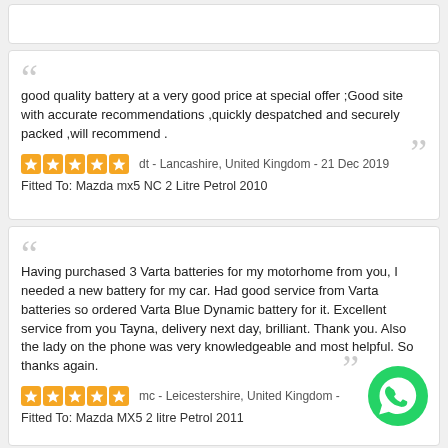good quality battery at a very good price at special offer ;Good site with accurate recommendations ,quickly despatched and securely packed ,will recommend .
dt - Lancashire, United Kingdom - 21 Dec 2019
Fitted To: Mazda mx5 NC 2 Litre Petrol 2010
Having purchased 3 Varta batteries for my motorhome from you, I needed a new battery for my car. Had good service from Varta batteries so ordered Varta Blue Dynamic battery for it. Excellent service from you Tayna, delivery next day, brilliant. Thank you. Also the lady on the phone was very knowledgeable and most helpful. So thanks again.
mc - Leicestershire, United Kingdom - 19
Fitted To: Mazda MX5 2 litre Petrol 2011